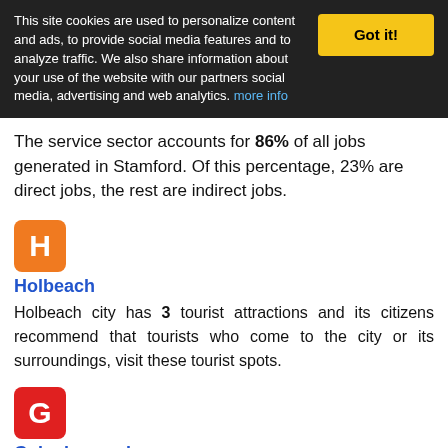This site cookies are used to personalize content and ads, to provide social media features and to analyze traffic. We also share information about your use of the website with our partners social media, advertising and web analytics. more info  Got it!
The service sector accounts for 86% of all jobs generated in Stamford. Of this percentage, 23% are direct jobs, the rest are indirect jobs.
[Figure (logo): Orange square icon with white letter H for Holbeach]
Holbeach
Holbeach city has 3 tourist attractions and its citizens recommend that tourists who come to the city or its surroundings, visit these tourist spots.
[Figure (logo): Red square icon with white letter G for Gainsborough]
Gainsborough
It is one of the most important cities of the country. Gainsborough is within 45% of relevant cities in United Kingdom. Has 3 sports centers.
[Figure (logo): Red square icon with white letter S (partially visible at bottom)]